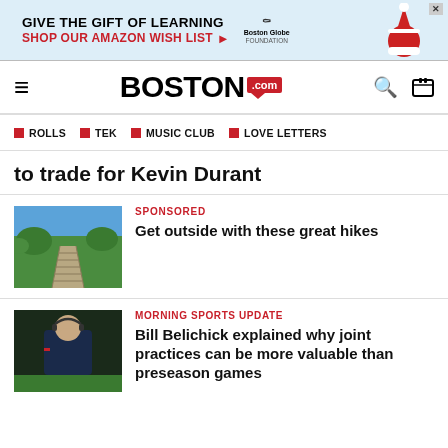[Figure (other): Advertisement banner: GIVE THE GIFT OF LEARNING / SHOP OUR AMAZON WISH LIST with Boston Globe Foundation logo]
BOSTON.com
ROLLS
TEK
MUSIC CLUB
LOVE LETTERS
to trade for Kevin Durant
[Figure (photo): Photo of a wooden boardwalk path through green marshland/wetlands under a blue sky]
SPONSORED
Get outside with these great hikes
[Figure (photo): Photo of Bill Belichick wearing a dark blue hoodie with hands near his face]
MORNING SPORTS UPDATE
Bill Belichick explained why joint practices can be more valuable than preseason games